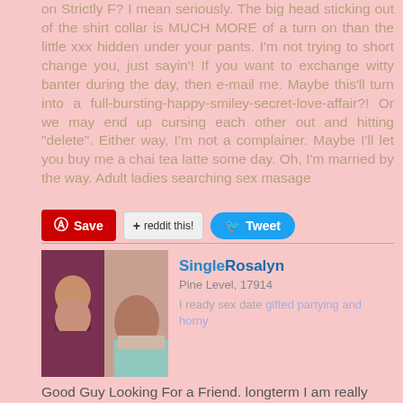on Strictly F? I mean seriously. The big head sticking out of the shirt collar is MUCH MORE of a turn on than the little xxx hidden under your pants. I'm not trying to short change you, just sayin'! If you want to exchange witty banter during the day, then e-mail me. Maybe this'll turn into a full-bursting-happy-smiley-secret-love-affair?! Or we may end up cursing each other out and hitting "delete". Either way, I'm not a complainer. Maybe I'll let you buy me a chai tea latte some day. Oh, I'm married by the way. Adult ladies searching sex masage
[Figure (screenshot): Social sharing buttons: Pinterest Save, reddit this!, Tweet]
[Figure (photo): Two-panel photo of women]
SingleRosalyn
Pine Level, 17914
I ready sex date gifted partying and horny
Good Guy Looking For a Friend. longterm I am really looking for fun, new people, and fun. Im single and hope that you are too. don't do the other girl thing. I go to the